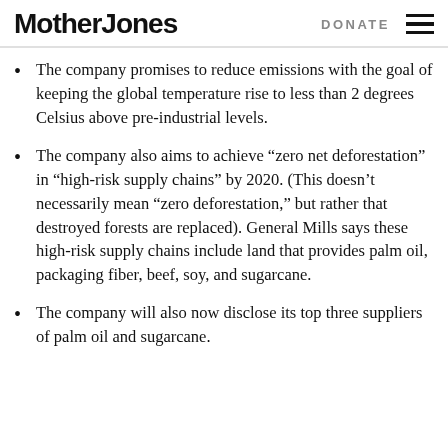Mother Jones | DONATE
The company promises to reduce emissions with the goal of keeping the global temperature rise to less than 2 degrees Celsius above pre-industrial levels.
The company also aims to achieve “zero net deforestation” in “high-risk supply chains” by 2020. (This doesn’t necessarily mean “zero deforestation,” but rather that destroyed forests are replaced). General Mills says these high-risk supply chains include land that provides palm oil, packaging fiber, beef, soy, and sugarcane.
The company will also now disclose its top three suppliers of palm oil and sugarcane.